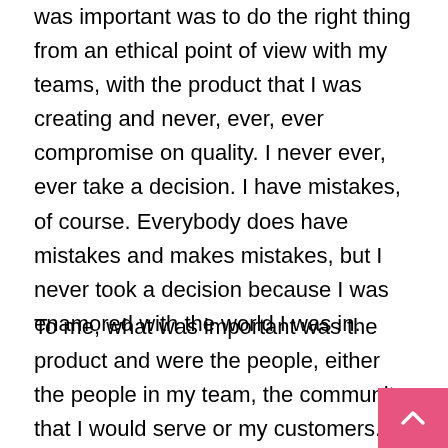was important was to do the right thing from an ethical point of view with my teams, with the product that I was creating and never, ever, ever compromise on quality. I never ever, ever take a decision. I have mistakes, of course. Everybody does have mistakes and makes mistakes, but I never took a decision because I was enamored with the world I was in.
To me, what was important was the product and were the people, either the people in my team, the community that I would serve or my customers. People and product were the most important thing ever, and that's it. The rest of it, and for me, the most difficult part of getting into my own brand is because I was never enamored by glamor. I was always...